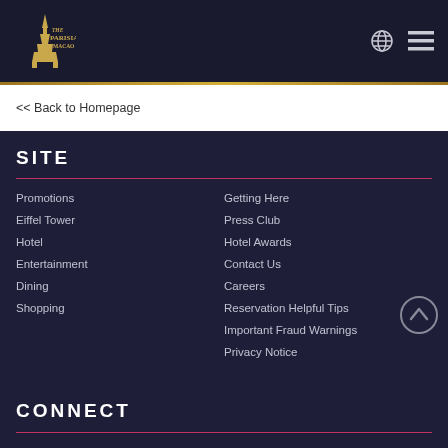The Parisian Macao
<< Back to Homepage
SITE
Promotions
Eiffel Tower
Hotel
Entertainment
Dining
Shopping
Getting Here
Press Club
Hotel Awards
Contact Us
Careers
Reservation Helpful Tips
Important Fraud Warnings
Privacy Notice
CONNECT